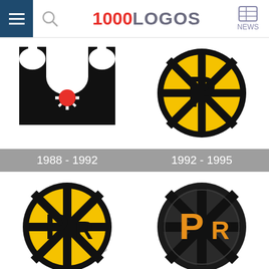1000LOGOS NEWS
[Figure (logo): Providence Bruins logo 1988-1992: black castle/battlement shape with red circle center and white spike wheel]
[Figure (logo): Providence Bruins logo 1992-1995: Boston Bruins style spoked wheel circle with black P letter on gold/yellow background]
1988 - 1992
1992 - 1995
[Figure (logo): Providence Bruins logo 1995-2012: spoked wheel circle in black and yellow with PR letters]
[Figure (logo): Providence Bruins logo 2012-now: dark spoked wheel circle with orange/gold P and R letters]
1995 - 2012
2012 - now